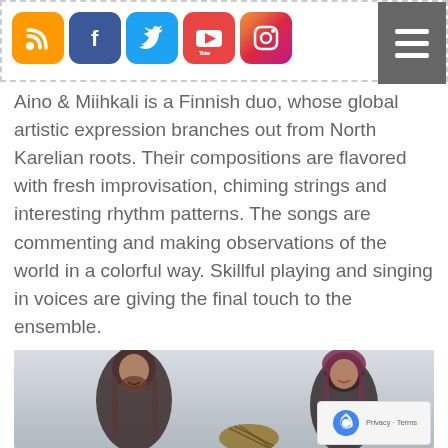Social media icons (RSS, Facebook, Twitter, YouTube, Instagram) and hamburger menu
Aino & Miihkali is a Finnish duo, whose global artistic expression branches out from North Karelian roots. Their compositions are flavored with fresh improvisation, chiming strings and interesting rhythm patterns. The songs are commenting and making observations of the world in a colorful way. Skillful playing and singing in voices are giving the final touch to the ensemble.
[Figure (photo): Two musicians photographed together — a man with long hair and beard on the left, a woman with purple-red hair on the right, with a musical instrument (kantele) visible]